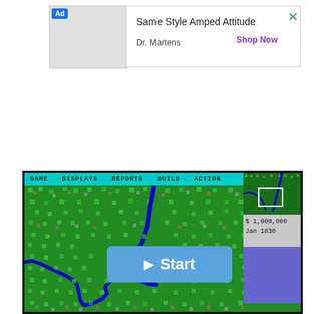[Figure (screenshot): Advertisement banner for Dr. Martens with text 'Same Style Amped Attitude', 'Dr. Martens', 'Shop Now' link, and a close button (X)]
[Figure (screenshot): Retro city-building game screenshot showing a top-down map view with green terrain, blue river, menu bar (GAME, DISPLAYS, REPORTS, BUILD, ACTION), minimap in top right, balance of $1,000,000 and date Jan 1830, and a blue Start button overlay in the center]